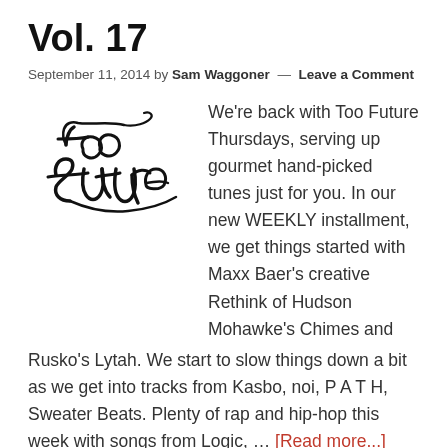Vol. 17
September 11, 2014 by Sam Waggoner — Leave a Comment
[Figure (logo): Too Future handwritten script logo in black ink]
We're back with Too Future Thursdays, serving up gourmet hand-picked tunes just for you. In our new WEEKLY installment, we get things started with Maxx Baer's creative Rethink of Hudson Mohawke's Chimes and Rusko's Lytah. We start to slow things down a bit as we get into tracks from Kasbo, noi, P A T H, Sweater Beats. Plenty of rap and hip-hop this week with songs from Logic, … [Read more...]